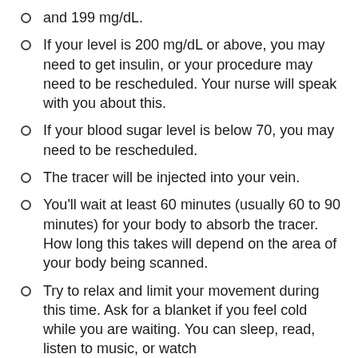and 199 mg/dL.
If your level is 200 mg/dL or above, you may need to get insulin, or your procedure may need to be rescheduled. Your nurse will speak with you about this.
If your blood sugar level is below 70, you may need to be rescheduled.
The tracer will be injected into your vein.
You'll wait at least 60 minutes (usually 60 to 90 minutes) for your body to absorb the tracer. How long this takes will depend on the area of your body being scanned.
Try to relax and limit your movement during this time. Ask for a blanket if you feel cold while you are waiting. You can sleep, read, listen to music, or watch